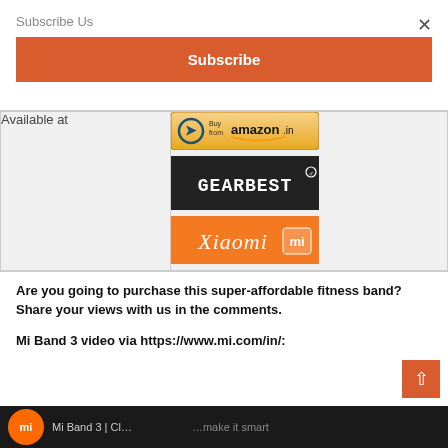Subscribe Us
Subscribe
|  |  |
| --- | --- |
| Available at | Amazon.in | GearBest | Xiaomi mi |
Are you going to purchase this super-affordable fitness band? Share your views with us in the comments.
Mi Band 3 video via https://www.mi.com/in/:
[Figure (screenshot): Mi Band 3 video thumbnail showing dark scene with Mi logo]